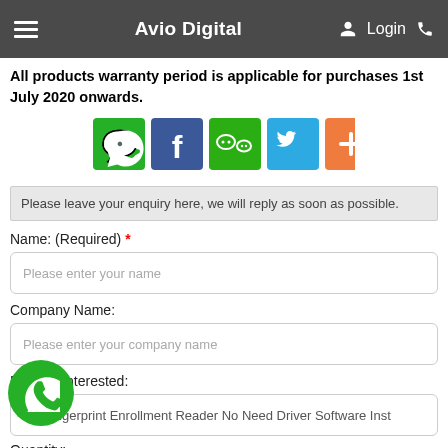Avio Digital
All products warranty period is applicable for purchases 1st July 2020 onwards.
[Figure (other): Social share icons: WhatsApp, Facebook, WeChat, Twitter, Add (+)]
Please leave your enquiry here, we will reply as soon as possible.
Name: (Required) *
Please enter your name
Company Name:
Please enter your company name
Product Interested:
SB Fingerprint Enrollment Reader No Need Driver Software Inst
Quantity: